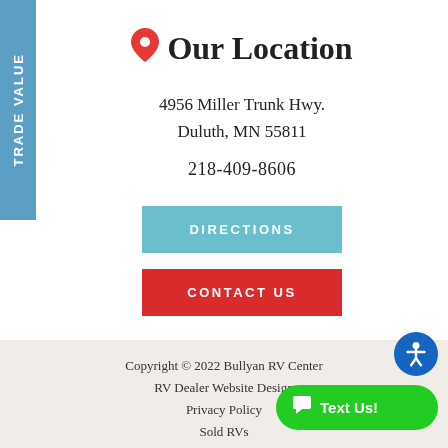Our Location
4956 Miller Trunk Hwy.
Duluth, MN 55811
218-409-8606
DIRECTIONS
CONTACT US
Copyright © 2022 Bullyan RV Center
RV Dealer Website Design
Privacy Policy
Sold RVs